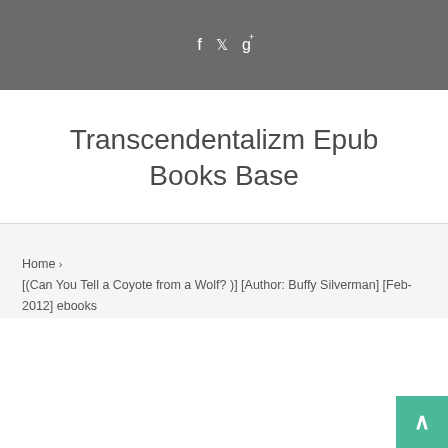f  ✦  g+
Transcendentalizm Epub Books Base
Home › [(Can You Tell a Coyote from a Wolf? )] [Author: Buffy Silverman] [Feb-2012] ebooks